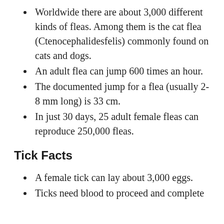Worldwide there are about 3,000 different kinds of fleas. Among them is the cat flea (Ctenocephalidesfelis) commonly found on cats and dogs.
An adult flea can jump 600 times an hour.
The documented jump for a flea (usually 2-8 mm long) is 33 cm.
In just 30 days, 25 adult female fleas can reproduce 250,000 fleas.
Tick Facts
A female tick can lay about 3,000 eggs.
Ticks need blood to proceed and complete